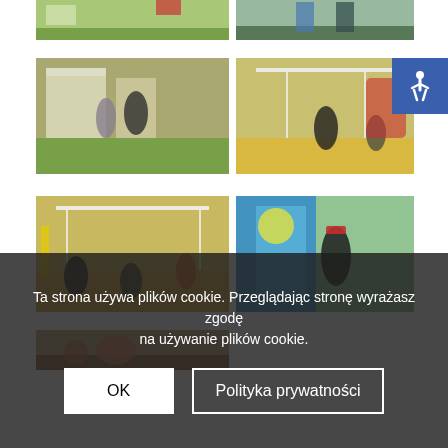[Figure (photo): Outdoor event photo, partial top row left - people on grass with tents]
[Figure (photo): Outdoor event photo, partial top row right - people walking]
[Figure (photo): Outdoor fair/festival scene - people near food stalls and tents]
[Figure (photo): Beach volleyball game at outdoor event]
[Figure (photo): Beach volleyball game - players on sand court with net]
[Figure (photo): Woman in black outfit with Minnie Mouse ears working at food stall near portable toilet]
[Figure (photo): People at outdoor event, partial bottom row]
Ta strona używa plików cookie. Przeglądając stronę wyrażasz zgodę na używanie plików cookie.
OK
Polityka prywatności